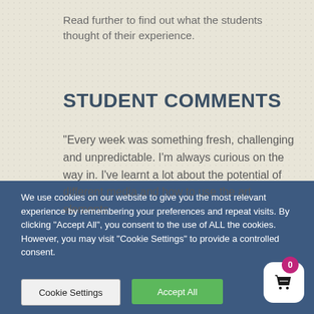Read further to find out what the students thought of their experience.
STUDENT COMMENTS
"Every week was something fresh, challenging and unpredictable. I'm always curious on the way in. I've learnt a lot about the potential of different media and how to use the art elements
We use cookies on our website to give you the most relevant experience by remembering your preferences and repeat visits. By clicking "Accept All", you consent to the use of ALL the cookies. However, you may visit "Cookie Settings" to provide a controlled consent.